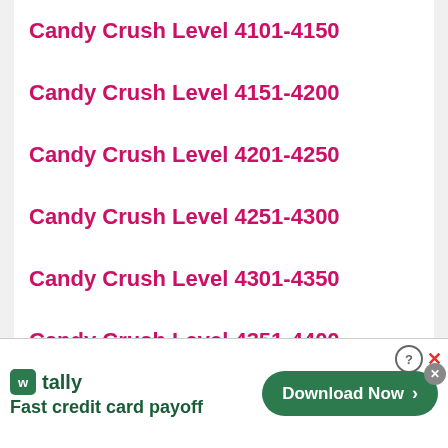Candy Crush Level 4101-4150
Candy Crush Level 4151-4200
Candy Crush Level 4201-4250
Candy Crush Level 4251-4300
Candy Crush Level 4301-4350
Candy Crush Level 4351-4400
Candy Crush Level 4401-4450
[Figure (screenshot): Tally app advertisement banner: logo icon, 'tally' name, tagline 'Fast credit card payoff', and a green 'Download Now' button with arrow. Includes close/help icons.]